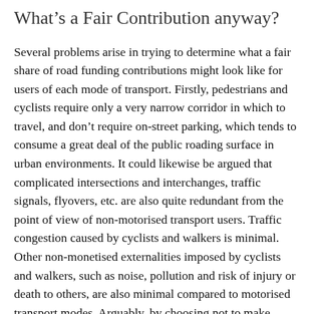What's a Fair Contribution anyway?
Several problems arise in trying to determine what a fair share of road funding contributions might look like for users of each mode of transport. Firstly, pedestrians and cyclists require only a very narrow corridor in which to travel, and don't require on-street parking, which tends to consume a great deal of the public roading surface in urban environments. It could likewise be argued that complicated intersections and interchanges, traffic signals, flyovers, etc. are also quite redundant from the point of view of non-motorised transport users. Traffic congestion caused by cyclists and walkers is minimal. Other non-monetised externalities imposed by cyclists and walkers, such as noise, pollution and risk of injury or death to others, are also minimal compared to motorised transport modes. Arguably, by choosing not to make journeys by private motor vehicle, cyclists and walkers have a congestion reducing effect overall.
Although NZ is one of the most car-dependent nations in